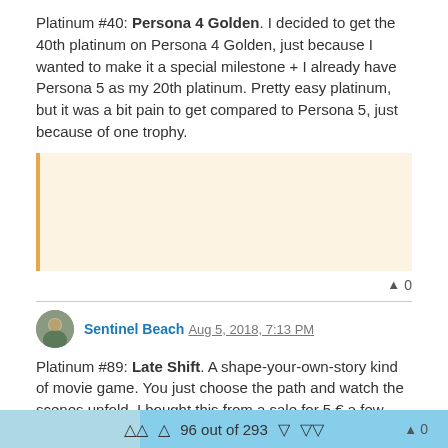Platinum #40: Persona 4 Golden. I decided to get the 40th platinum on Persona 4 Golden, just because I wanted to make it a special milestone + I already have Persona 5 as my 20th platinum. Pretty easy platinum, but it was a bit pain to get compared to Persona 5, just because of one trophy.
[Figure (other): Quoted/embedded content block with orange-left-border on light peach background, empty content area]
▲ 0
Sentinel Beach Aug 5, 2018, 7:13 PM
Platinum #89: Late Shift. A shape-your-own-story kind of movie game. You just choose the path and watch the scenes unfold. I bought this from a sale for 5 € a few months back out of curiosity. Turned out one playthrough was enough for me: it's not too bad or especially good, just a neat little experience, a peculiar one. So after that playthrough I played it again with a guide to find the other endings, it took only two hours or so.
96 out of 293